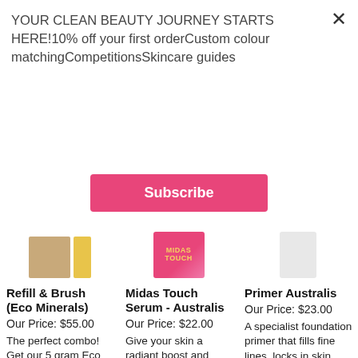YOUR CLEAN BEAUTY JOURNEY STARTS HERE!10% off your first orderCustom colour matchingCompetitionsSkincare guides
Subscribe
[Figure (photo): Product images: Eco Minerals refill and brush (brown square box and yellow bottle), Midas Touch Serum (pink bottle), Primer Australis (white tube)]
Refill & Brush (Eco Minerals)
Our Price: $55.00
The perfect combo! Get our 5 gram Eco Refill and a Kabuki Brush*
The Refill comes in recycled
Midas Touch Serum - Australis
Our Price: $22.00
Give your skin a radiant boost and prime it before you apply your makeup.
The Midas Touch Serum by
Primer Australis
Our Price: $23.00
A specialist foundation primer that fills fine lines, locks in skin moisture and prevents skin from